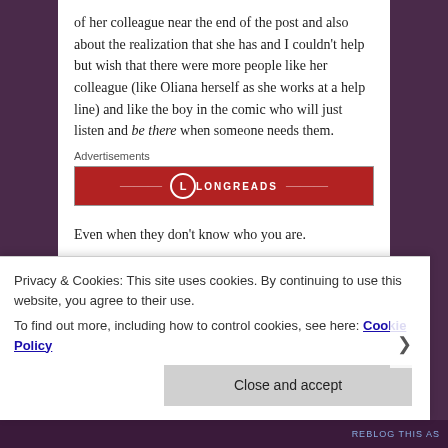of her colleague near the end of the post and also about the realization that she has and I couldn't help but wish that there were more people like her colleague (like Oliana herself as she works at a help line) and like the boy in the comic who will just listen and be there when someone needs them.
Advertisements
[Figure (logo): Longreads advertisement banner - red background with Longreads logo and name]
Even when they don't know who you are.
Especially when they don't know who you are.
Privacy & Cookies: This site uses cookies. By continuing to use this website, you agree to their use.
To find out more, including how to control cookies, see here: Cookie Policy
Close and accept